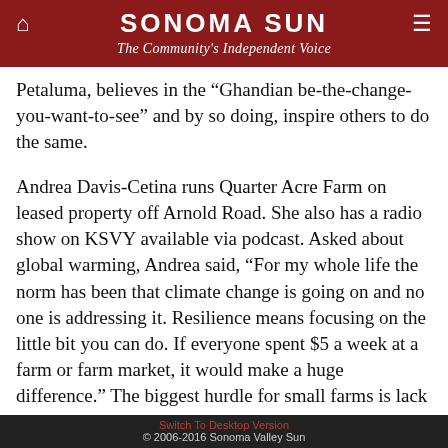SONOMA SUN
The Community's Independent Voice
Petaluma, believes in the “Ghandian be-the-change-you-want-to-see” and by so doing, inspire others to do the same.
Andrea Davis-Cetina runs Quarter Acre Farm on leased property off Arnold Road. She also has a radio show on KSVY available via podcast. Asked about global warming, Andrea said, “For my whole life the norm has been that climate change is going on and no one is addressing it. Resilience means focusing on the little bit you can do. If everyone spent $5 a week at a farm or farm market, it would make a huge difference.” The biggest hurdle for small farms is lack of access to land, which she blames in part on the wine industry.
Ag Commissioner Tony Linegar agrees. Wine grape production and wineries now occupy 63,000 acres of arable land in Sonoma County, he said, while
Switch To Desktop Version
© 2006-2016 Sonoma Valley Sun